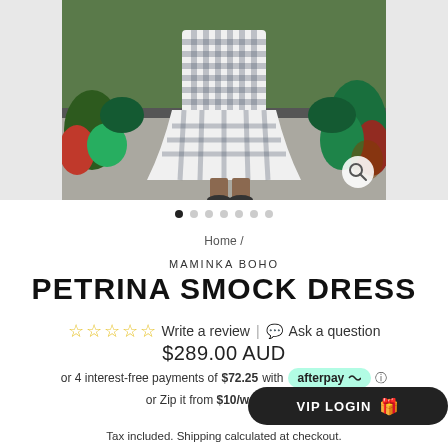[Figure (photo): Model wearing a gingham smock dress outdoors with tropical plants in background. Two grey side panels flank the main photo. Magnify button in bottom right of photo.]
● ○ ○ ○ ○ ○ ○ (image carousel dots, first active)
Home /
MAMINKA BOHO
PETRINA SMOCK DRESS
☆ ☆ ☆ ☆ ☆  Write a review  |  Ask a question
$289.00 AUD
or 4 interest-free payments of $72.25 with afterpay ℹ
or Zip it from $10/week w...
Tax included. Shipping calculated at checkout.